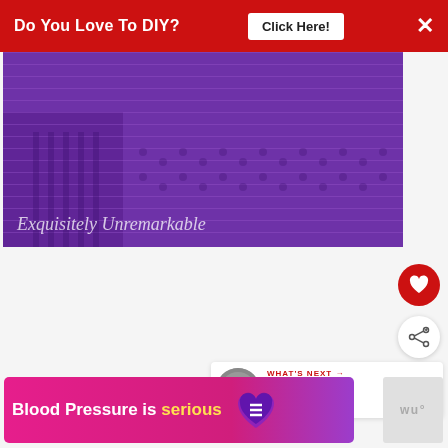[Figure (screenshot): Red banner ad at top: 'Do You Love To DIY?' with 'Click Here!' button and X close button]
[Figure (photo): Close-up photo of purple knitted sweater fabric with text overlay 'Exquisitely Unremarkable']
[Figure (screenshot): Red heart favorite button (circular)]
[Figure (screenshot): White share button (circular) with share icon]
[Figure (screenshot): WHAT'S NEXT panel with thumbnail and title 'A Creative Sweater Fix']
[Figure (screenshot): Pink/magenta ad banner: 'Blood Pressure is serious' with illustrated heart graphic, and a small logo to the right]